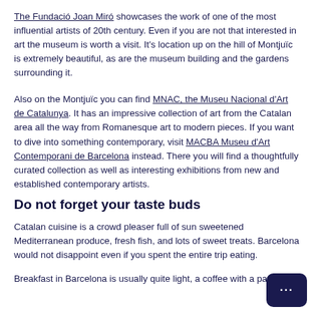The Fundació Joan Miró showcases the work of one of the most influential artists of 20th century. Even if you are not that interested in art the museum is worth a visit. It's location up on the hill of Montjuïc is extremely beautiful, as are the museum building and the gardens surrounding it.
Also on the Montjuïc you can find MNAC, the Museu Nacional d'Art de Catalunya. It has an impressive collection of art from the Catalan area all the way from Romanesque art to modern pieces. If you want to dive into something contemporary, visit MACBA Museu d'Art Contemporani de Barcelona instead. There you will find a thoughtfully curated collection as well as interesting exhibitions from new and established contemporary artists.
Do not forget your taste buds
Catalan cuisine is a crowd pleaser full of sun sweetened Mediterranean produce, fresh fish, and lots of sweet treats. Barcelona would not disappoint even if you spent the entire trip eating.
Breakfast in Barcelona is usually quite light, a coffee with a past…